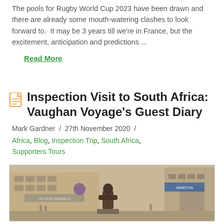The pools for Rugby World Cup 2023 have been drawn and there are already some mouth-watering clashes to look forward to.  It may be 3 years till we're in France, but the excitement, anticipation and predictions ...
Read More
Inspection Visit to South Africa: Vaughan Voyage's Guest Diary
Mark Gardner  /  27th November 2020  /
Africa, Blog, Inspection Trip, South Africa, Supporters Tours
[Figure (photo): Street photo showing a bronze statue of Nelson Mandela in front of a large building in Johannesburg/Sandton, South Africa. Urban shopping centre or hotel building visible in background.]